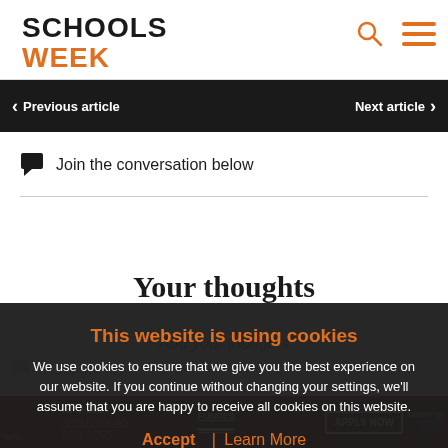[Figure (logo): Schools Week logo with SCHOOLS in black bold and WEEK in orange bold, plus search and hamburger icons]
< Previous article    Next article >
Join the conversation below
Your thoughts
Add your thoughts
0 Comments
[Figure (screenshot): NPO 2024 Applications now open advertisement strip]
This website is using cookies
We use cookies to ensure that we give you the best experience on our website. If you continue without changing your settings, we'll assume that you are happy to receive all cookies on this website.
Accept / Learn More